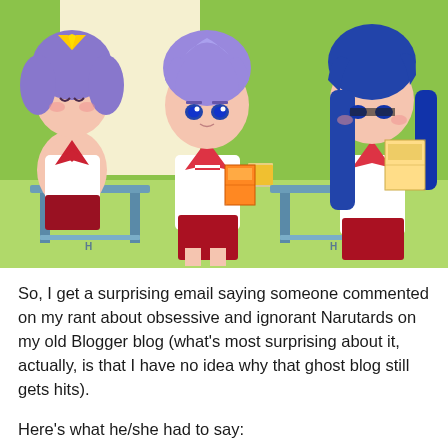[Figure (illustration): Anime illustration from Lucky Star showing three female anime characters in school uniforms sitting at desks in a classroom with a green background. Two characters have purple hair and one has blue hair. They are holding manga books.]
So, I get a surprising email saying someone commented on my rant about obsessive and ignorant Narutards on my old Blogger blog (what's most surprising about it, actually, is that I have no idea why that ghost blog still gets hits).
Here's what he/she had to say: